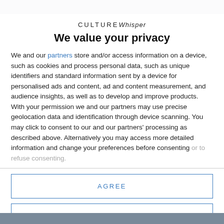[Figure (photo): Partial photo visible at top of page, cropped]
CULTUREWhisper
We value your privacy
We and our partners store and/or access information on a device, such as cookies and process personal data, such as unique identifiers and standard information sent by a device for personalised ads and content, ad and content measurement, and audience insights, as well as to develop and improve products. With your permission we and our partners may use precise geolocation data and identification through device scanning. You may click to consent to our and our partners' processing as described above. Alternatively you may access more detailed information and change your preferences before consenting or to refuse consenting.
AGREE
MORE OPTIONS
[Figure (photo): Partial photo visible at bottom of page, cropped]